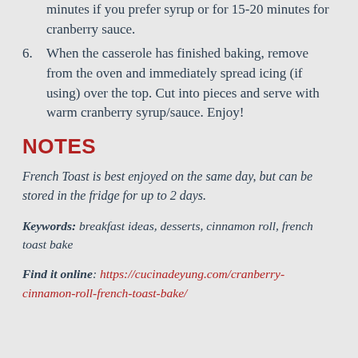minutes if you prefer syrup or for 15-20 minutes for cranberry sauce.
6. When the casserole has finished baking, remove from the oven and immediately spread icing (if using) over the top. Cut into pieces and serve with warm cranberry syrup/sauce. Enjoy!
NOTES
French Toast is best enjoyed on the same day, but can be stored in the fridge for up to 2 days.
Keywords: breakfast ideas, desserts, cinnamon roll, french toast bake
Find it online: https://cucinadeyung.com/cranberry-cinnamon-roll-french-toast-bake/